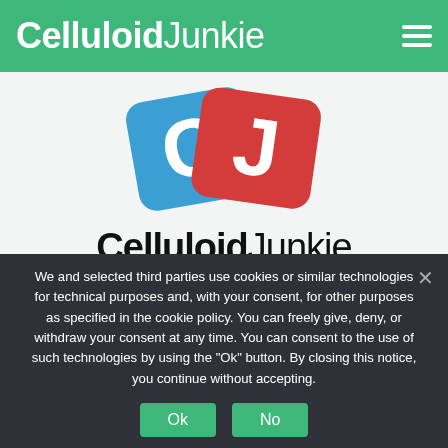Celluloid Junkie
[Figure (logo): Celluloid Junkie logo: two overlapping film canister shapes in blue and red with 'CJ' letters in white, followed by 'CelluloidJunkie' brand name text below]
Celluloid Junkie is the leading online resource dedicated to the global film and cinema business. Join a growing community of film and cinema industry professionals
We and selected third parties use cookies or similar technologies for technical purposes and, with your consent, for other purposes as specified in the cookie policy. You can freely give, deny, or withdraw your consent at any time. You can consent to the use of such technologies by using the "Ok" button. By closing this notice, you continue without accepting.